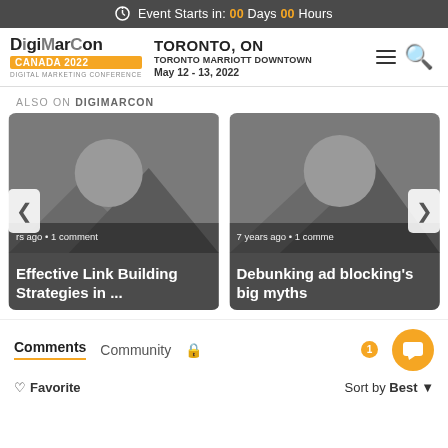Event Starts in: 00 Days 00 Hours
[Figure (logo): DigiMarCon Canada 2022 logo with orange badge and Digital Marketing Conference text]
TORONTO, ON
TORONTO MARRIOTT DOWNTOWN
May 12 - 13, 2022
ALSO ON DIGIMARCON
[Figure (illustration): Slider card: placeholder image with circle and mountain shapes, text: rs ago • 1 comment, Effective Link Building Strategies in ...]
[Figure (illustration): Slider card: placeholder image with circle and mountain shapes, text: 7 years ago • 1 comment, Debunking ad blocking's big myths]
Comments  Community  🔒
♡ Favorite
Sort by Best ▼